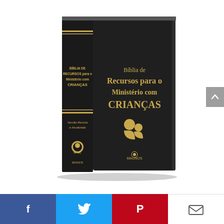[Figure (photo): A black hardcover Bible book titled 'Bíblia de Recursos para o Ministério com Crianças' (Bible of Resources for Children's Ministry) with gold lettering on the front cover and spine, featuring a children's ministry logo (stylized adult and child figures) on the front, APEC and Magnos publisher logos on the spine and bottom front, and 'Versão Revista e Atualizada' on the spine. The book is shown at a slight angle with a white background.]